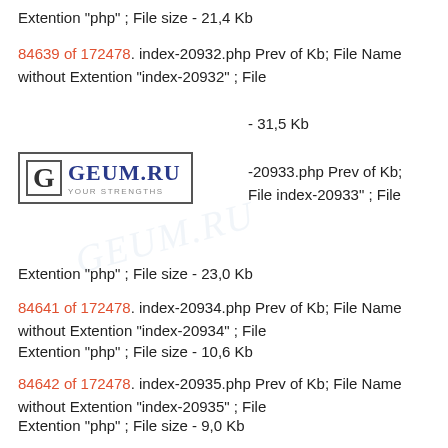Extention "php" ; File size - 21,4 Kb
84639 of 172478. index-20932.php Prev of Kb; File Name without Extention "index-20932" ; File
- 31,5 Kb
[Figure (logo): GEUM.RU logo with letter G in a box and tagline YOUR STRENGTHS]
-20933.php Prev of Kb; File index-20933" ; File
Extention "php" ; File size - 23,0 Kb
84641 of 172478. index-20934.php Prev of Kb; File Name without Extention "index-20934" ; File
Extention "php" ; File size - 10,6 Kb
84642 of 172478. index-20935.php Prev of Kb; File Name without Extention "index-20935" ; File
Extention "php" ; File size - 9,0 Kb
84643 of 172478. index-20936.php Prev of Kb; File Name without Extention "index-20936" ; File
Extention "php" ; File size - 65,0 Kb